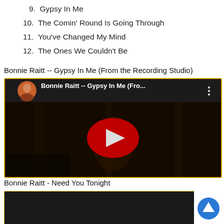9. Gypsy In Me
10. The Comin' Round Is Going Through
11. You've Changed My Mind
12. The Ones We Couldn't Be
Bonnie Raitt -- Gypsy In Me (From the Recording Studio)
[Figure (screenshot): YouTube video thumbnail for 'Bonnie Raitt -- Gypsy In Me (Fro...' showing a dark recording studio scene with a play button, channel icon of Bonnie Raitt, and three-dot menu.]
Bonnie Raitt - Need You Tonight
[Figure (screenshot): Partial YouTube video thumbnail, dark background, partially visible at bottom of page.]